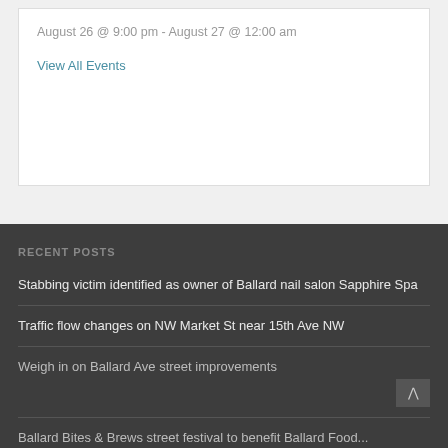August 26 @ 9:00 pm - August 27 @ 12:00 am
View All Events
RECENT POSTS
Stabbing victim identified as owner of Ballard nail salon Sapphire Spa
Traffic flow changes on NW Market St near 15th Ave NW
Weigh in on Ballard Ave street improvements
Ballard Bites & Brews street festival to benefit Ballard Food...